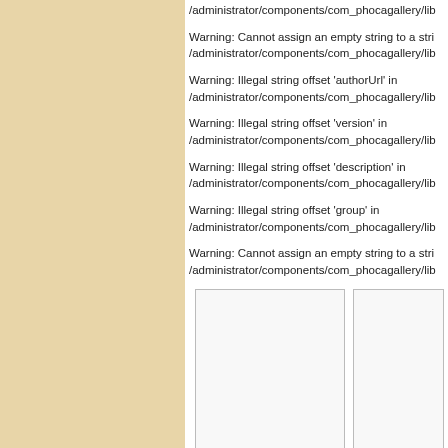/administrator/components/com_phocagallery/lib
Warning: Cannot assign an empty string to a str /administrator/components/com_phocagallery/lib
Warning: Illegal string offset 'authorUrl' in /administrator/components/com_phocagallery/lib
Warning: Illegal string offset 'version' in /administrator/components/com_phocagallery/lib
Warning: Illegal string offset 'description' in /administrator/components/com_phocagallery/lib
Warning: Illegal string offset 'group' in /administrator/components/com_phocagallery/lib
Warning: Cannot assign an empty string to a str /administrator/components/com_phocagallery/lib
[Figure (other): Two image placeholder boxes side by side, the right one labeled 'Dekoracie do']